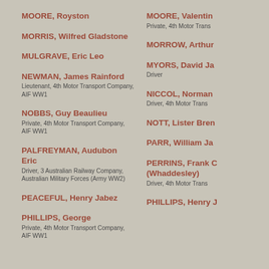MOORE, Royston
MOORE, Valentine
Private, 4th Motor Transport Company, AIF WW1
MORRIS, Wilfred Gladstone
MORROW, Arthur
MULGRAVE, Eric Leo
MYORS, David Ja
Driver
NEWMAN, James Rainford
Lieutenant, 4th Motor Transport Company, AIF WW1
NICCOL, Norman
Driver, 4th Motor Transport Company
NOBBS, Guy Beaulieu
Private, 4th Motor Transport Company, AIF WW1
NOTT, Lister Bren
PALFREYMAN, Audubon Eric
Driver, 3 Australian Railway Company, Australian Military Forces (Army WW2)
PARR, William Ja
PEACEFUL, Henry Jabez
PERRINS, Frank (Whaddesley)
Driver, 4th Motor Transport Company
PHILLIPS, George
Private, 4th Motor Transport Company, AIF WW1
PHILLIPS, Henry J